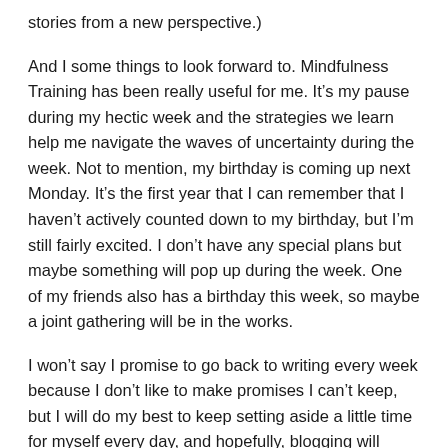stories from a new perspective.)
And I some things to look forward to. Mindfulness Training has been really useful for me. It’s my pause during my hectic week and the strategies we learn help me navigate the waves of uncertainty during the week. Not to mention, my birthday is coming up next Monday. It’s the first year that I can remember that I haven’t actively counted down to my birthday, but I’m still fairly excited. I don’t have any special plans but maybe something will pop up during the week. One of my friends also has a birthday this week, so maybe a joint gathering will be in the works.
I won’t say I promise to go back to writing every week because I don’t like to make promises I can’t keep, but I will do my best to keep setting aside a little time for myself every day, and hopefully, blogging will continue to be one of the things I like to do for myself.